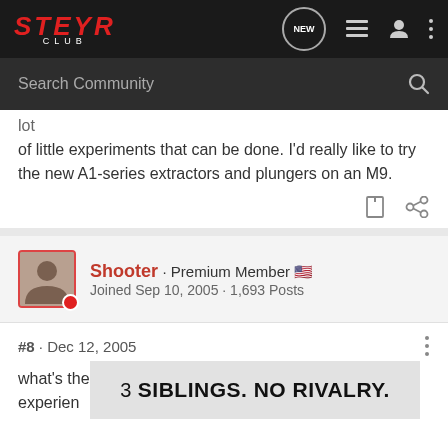STEYR CLUB
lot of little experiments that can be done. I'd really like to try the new A1-series extractors and plungers on an M9.
Shooter · Premium Member · Joined Sep 10, 2005 · 1,693 Posts
#8 · Dec 12, 2005
what's the difference for you in the flat/round spring experience
[Figure (screenshot): Advertisement banner reading '3 SIBLINGS. NO RIVALRY.']